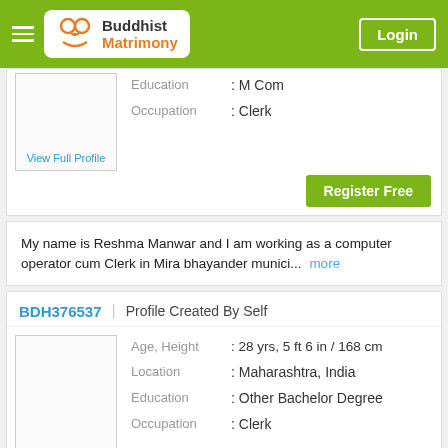Buddhist Matrimony | Login
Education : M Com
Occupation : Clerk
View Full Profile
Register Free
My name is Reshma Manwar and I am working as a computer operator cum Clerk in Mira bhayander munici... more
BDH376537 | Profile Created By Self
Age, Height : 28 yrs, 5 ft 6 in / 168 cm
Location : Maharashtra, India
Education : Other Bachelor Degree
Occupation : Clerk
View Full Profile
Register Free